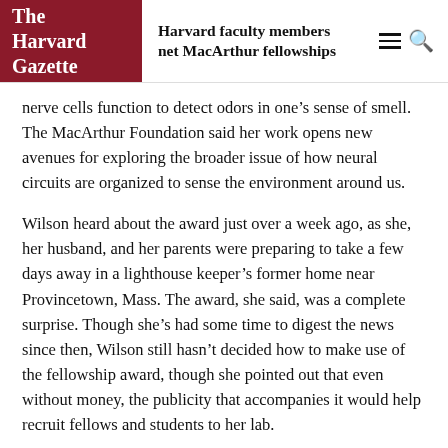The Harvard Gazette
Harvard faculty members net MacArthur fellowships
nerve cells function to detect odors in one’s sense of smell. The MacArthur Foundation said her work opens new avenues for exploring the broader issue of how neural circuits are organized to sense the environment around us.
Wilson heard about the award just over a week ago, as she, her husband, and her parents were preparing to take a few days away in a lighthouse keeper’s former home near Provincetown, Mass. The award, she said, was a complete surprise. Though she’s had some time to digest the news since then, Wilson still hasn’t decided how to make use of the fellowship award, though she pointed out that even without money, the publicity that accompanies it would help recruit fellows and students to her lab.